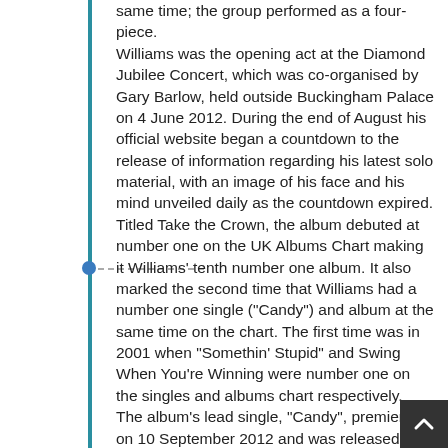same time; the group performed as a four-piece. Williams was the opening act at the Diamond Jubilee Concert, which was co-organised by Gary Barlow, held outside Buckingham Palace on 4 June 2012. During the end of August his official website began a countdown to the release of information regarding his latest solo material, with an image of his face and his mind unveiled daily as the countdown expired. Titled Take the Crown, the album debuted at number one on the UK Albums Chart making it Williams' tenth number one album. It also marked the second time that Williams had a number one single ("Candy") and album at the same time on the chart. The first time was in 2001 when "Somethin' Stupid" and Swing When You're Winning were number one on the singles and albums chart respectively. The album's lead single, "Candy", premiered on 10 September 2012 and was released on 11 September in most countries and 29 October in the UK. In the UK, "Candy" became William